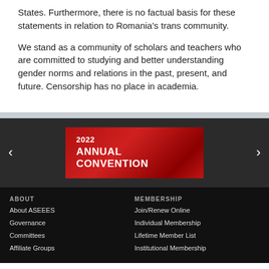States. Furthermore, there is no factual basis for these statements in relation to Romania's trans community.
We stand as a community of scholars and teachers who are committed to studying and better understanding gender norms and relations in the past, present, and future. Censorship has no place in academia.
[Figure (other): Carousel slide showing red banner for 2022 Annual Convention with left and right navigation arrows on dark background]
ABOUT
About ASEEES
Governance
Committees
Affiliate Groups
MEMBERSHIP
Join/Renew Online
Individual Membership
Lifetime Member List
Institutional Membership